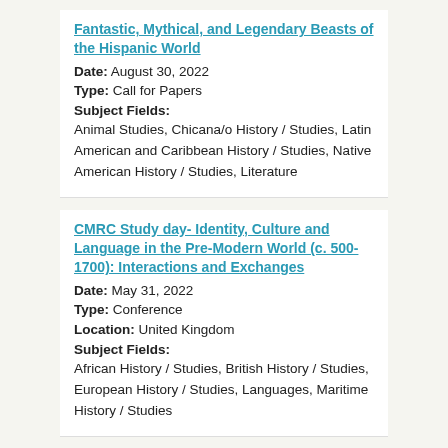Fantastic, Mythical, and Legendary Beasts of the Hispanic World
Date: August 30, 2022
Type: Call for Papers
Subject Fields:
Animal Studies, Chicana/o History / Studies, Latin American and Caribbean History / Studies, Native American History / Studies, Literature
CMRC Study day- Identity, Culture and Language in the Pre-Modern World (c. 500-1700): Interactions and Exchanges
Date: May 31, 2022
Type: Conference
Location: United Kingdom
Subject Fields:
African History / Studies, British History / Studies, European History / Studies, Languages, Maritime History / Studies
H-Net Job Guide Weekly Report for H-